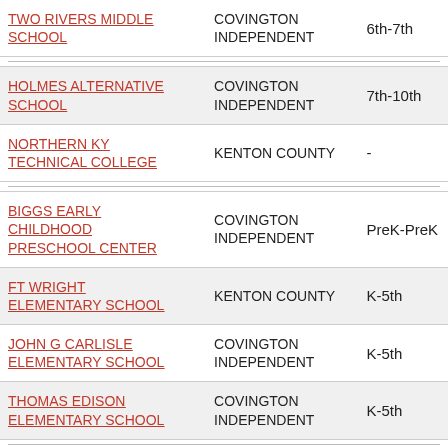| School | District | Grades |
| --- | --- | --- |
| TWO RIVERS MIDDLE SCHOOL | COVINGTON INDEPENDENT | 6th-7th |
| HOLMES ALTERNATIVE SCHOOL | COVINGTON INDEPENDENT | 7th-10th |
| NORTHERN KY TECHNICAL COLLEGE | KENTON COUNTY | - |
| BIGGS EARLY CHILDHOOD PRESCHOOL CENTER | COVINGTON INDEPENDENT | PreK-PreK |
| FT WRIGHT ELEMENTARY SCHOOL | KENTON COUNTY | K-5th |
| JOHN G CARLISLE ELEMENTARY SCHOOL | COVINGTON INDEPENDENT | K-5th |
| THOMAS EDISON ELEMENTARY SCHOOL | COVINGTON INDEPENDENT | K-5th |
| NORTHKEY COM CARE INTENSIVE SERVICES | KENTON COUNTY | K-10th |